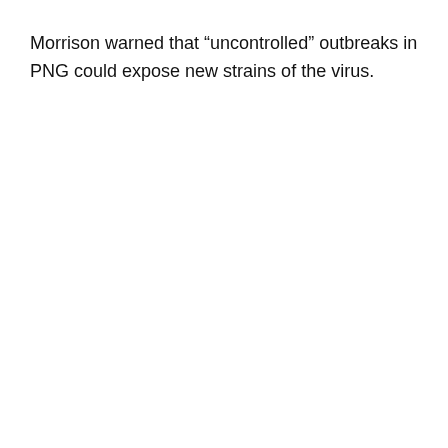Morrison warned that “uncontrolled” outbreaks in PNG could expose new strains of the virus.